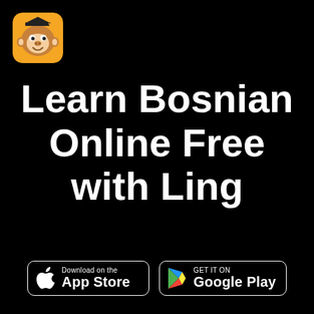[Figure (logo): Ling app logo: cartoon monkey face with graduation hat on yellow/orange background, rounded square icon]
Learn Bosnian Online Free with Ling
[Figure (infographic): Download on the App Store badge (Apple)]
[Figure (infographic): Get it on Google Play badge]